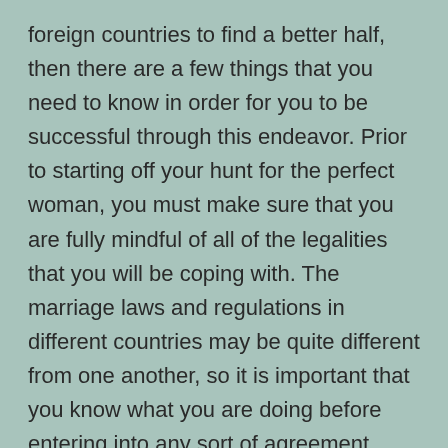foreign countries to find a better half, then there are a few things that you need to know in order for you to be successful through this endeavor. Prior to starting off your hunt for the perfect woman, you must make sure that you are fully mindful of all of the legalities that you will be coping with. The marriage laws and regulations in different countries may be quite different from one another, so it is important that you know what you are doing before entering into any sort of agreement. There are often requirements that you must fulfill in order to even obtain a visa to marry another woman.